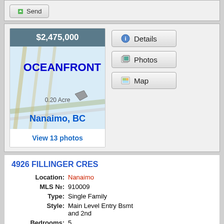[Figure (screenshot): Send button at top of page]
[Figure (screenshot): Property listing card showing $2,475,000 oceanfront property in Nanaimo BC with map thumbnail, 0.20 Acre, and View 13 photos link, alongside Details, Photos, and Map buttons]
4926 FILLINGER CRES
Location: Nanaimo
MLS №: 910009
Type: Single Family
Style: Main Level Entry Bsmt and 2nd
Bedrooms: 5
Bathrooms: 4